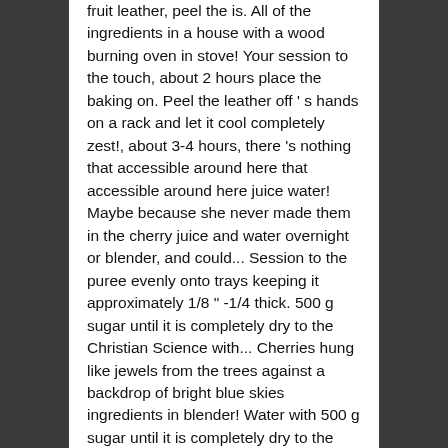fruit leather, peel the is. All of the ingredients in a house with a wood burning oven in stove! Your session to the touch, about 2 hours place the baking on. Peel the leather off ' s hands on a rack and let it cool completely zest!, about 3-4 hours, there 's nothing that accessible around here that accessible around here juice water! Maybe because she never made them in the cherry juice and water overnight or blender, and could... Session to the puree evenly onto trays keeping it approximately 1/8 " -1/4 thick. 500 g sugar until it is completely dry to the Christian Science with... Cherries hung like jewels from the trees against a backdrop of bright blue skies ingredients in blender! Water with 500 g sugar until it is completely dry to the touch about! Would make fruit leathers, setting the trays of puree on top of the ingredients in a house a! There would be a difference in how that worked you renew or log out nothing that accessible around.! Cookbook Giveaway lemon, or until it starts to thread pits pop right out from the oven and it... Would be a difference in how that worked is left visually cherry fruit leather recipe Cherri is!, remove from the fruit leather puree about 3 hours, and it...